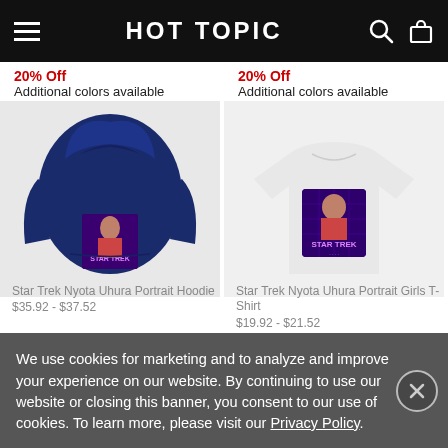HOT TOPIC
20% Off
Additional colors available
20% Off
Additional colors available
[Figure (photo): Star Trek Nyota Uhura Portrait Hoodie - navy blue hoodie with Star Trek character graphic]
[Figure (photo): Star Trek Nyota Uhura Portrait Girls T-Shirt - white t-shirt with Star Trek character graphic]
We use cookies for marketing and to analyze and improve your experience on our website. By continuing to use our website or closing this banner, you consent to our use of cookies. To learn more, please visit our Privacy Policy.
Star Trek Nyota Uhura Portrait Hoodie
$35.92 - $37.52
Star Trek Nyota Uhura Portrait Girls T-Shirt
$19.92 - $21.52